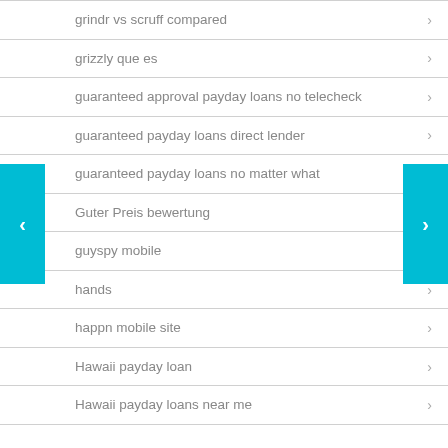grindr vs scruff compared
grizzly que es
guaranteed approval payday loans no telecheck
guaranteed payday loans direct lender
guaranteed payday loans no matter what
Guter Preis bewertung
guyspy mobile
hands
happn mobile site
Hawaii payday loan
Hawaii payday loans near me